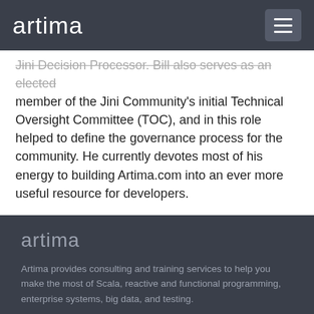artima
Jini Decision Processor. Bill also serves as an elected member of the Jini Community's initial Technical Oversight Committee (TOC), and in this role helped to define the governance process for the community. He currently devotes most of his energy to building Artima.com into an ever more useful resource for developers.
artima
Artima provides consulting and training services to help you make the most of Scala, reactive and functional programming, enterprise systems, big data, and testing.
Artima, Inc.
2070 N Broadway Unit 305
Walnut Creek CA 94597
USA